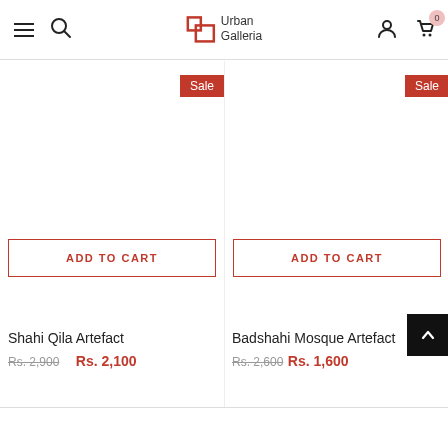Urban Galleria — navigation header with hamburger menu, search, logo, user icon, and cart (0)
[Figure (screenshot): Product card for Shahi Qila Artefact with Sale badge and Add to Cart button]
Shahi Qila Artefact
Rs. 2,900  Rs. 2,100
[Figure (screenshot): Product card for Badshahi Mosque Artefact with Sale badge and Add to Cart button]
Badshahi Mosque Artefact
Rs. 2,600  Rs. 1,600